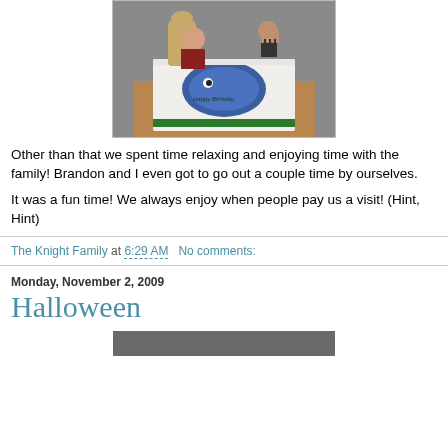[Figure (photo): A young child sitting at a table with a decorated birthday cake, with an adult gesturing nearby]
Other than that we spent time relaxing and enjoying time with the family!  Brandon and I even got to go out a couple time by ourselves.
It was a fun time!  We always enjoy when people pay us a visit!  (Hint, Hint)
The Knight Family at 6:29 AM    No comments:
Monday, November 2, 2009
Halloween
[Figure (photo): Partial view of a photo at the bottom of the page]